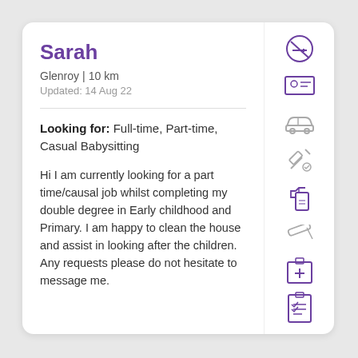Sarah
Glenroy | 10 km
Updated: 14 Aug 22
Looking for: Full-time,Part-time,Casual Babysitting
Hi I am currently looking for a part time/causal job whilst completing my double degree in Early childhood and Primary. I am happy to clean the house and assist in looking after the children. Any requests please do not hesitate to message me.
[Figure (infographic): Column of purple and grey icons: no-smoking circle, ID card, car, syringe/vaccination, spray bottle, pencil, first aid kit, checklist]